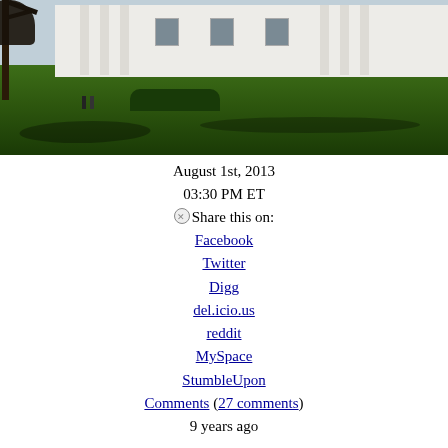[Figure (photo): Exterior photo of the White House with green lawn in foreground, bare tree on left, white columned building in background under a light sky.]
August 1st, 2013
03:30 PM ET
⊗Share this on:
Facebook
Twitter
Digg
del.icio.us
reddit
MySpace
StumbleUpon
Comments (27 comments)
9 years ago
Obama admin. pushes back on Obamacare rumors